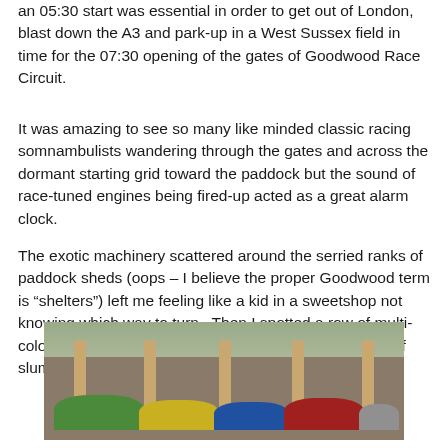an 05:30 start was essential in order to get out of London, blast down the A3 and park-up in a West Sussex field in time for the 07:30 opening of the gates of Goodwood Race Circuit.
It was amazing to see so many like minded classic racing somnambulists wandering through the gates and across the dormant starting grid toward the paddock but the sound of race-tuned engines being fired-up acted as a great alarm clock.
The exotic machinery scattered around the serried ranks of paddock sheds (oops – I believe the proper Goodwood term is “shelters”) left me feeling like a kid in a sweetshop not knowing which way to turn.  Then I spotted a row of multi-coloured car covers forming the unmistakable outlines of slumbering Porsche 917’s.....................
[Figure (photo): Photo of colourful car covers (green, yellow, blue, red, grey) under a paddock shelter structure with wooden beams, trees visible in the background.]